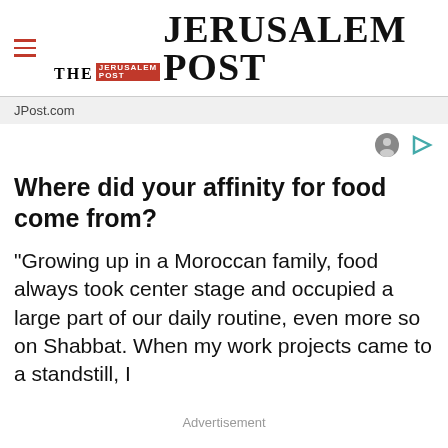THE JERUSALEM POST
JPost.com
Where did your affinity for food come from?
“Growing up in a Moroccan family, food always took center stage and occupied a large part of our daily routine, even more so on Shabbat. When my work projects came to a standstill, I
Advertisement